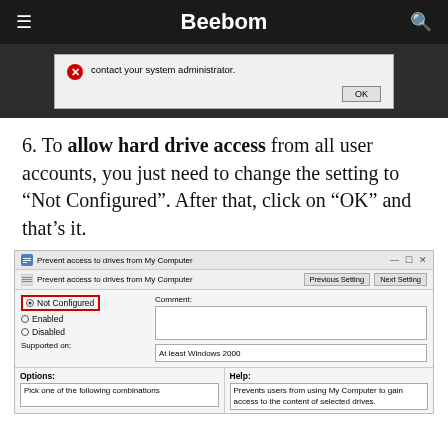Beebom
[Figure (screenshot): Windows dialog box showing an error message with OK button, on dark background]
6. To allow hard drive access from all user accounts, you just need to change the setting to “Not Configured”. After that, click on “OK” and that’s it.
[Figure (screenshot): Windows Group Policy dialog: 'Prevent access to drives from My Computer' with Not Configured selected (highlighted in red), Previous Setting and Next Setting buttons, Comment field, Supported on field showing 'At least Windows 2000', Options section with 'Pick one of the following combinations', Help section with text 'Prevents users from using My Computer to gain access to the content of selected drives.']